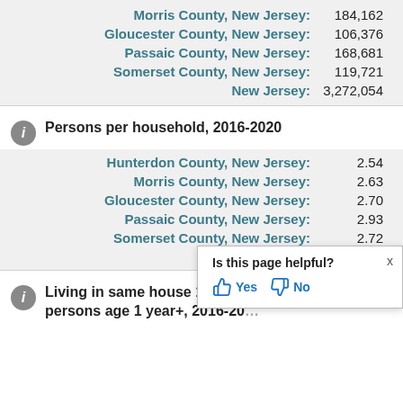Morris County, New Jersey: 184,162
Gloucester County, New Jersey: 106,376
Passaic County, New Jersey: 168,681
Somerset County, New Jersey: 119,721
New Jersey: 3,272,054
Persons per household, 2016-2020
Hunterdon County, New Jersey: 2.54
Morris County, New Jersey: 2.63
Gloucester County, New Jersey: 2.70
Passaic County, New Jersey: 2.93
Somerset County, New Jersey: 2.72
New Jersey: 2.66
Living in same house 1 year ago, percent of persons age 1 year+, 2016-2020